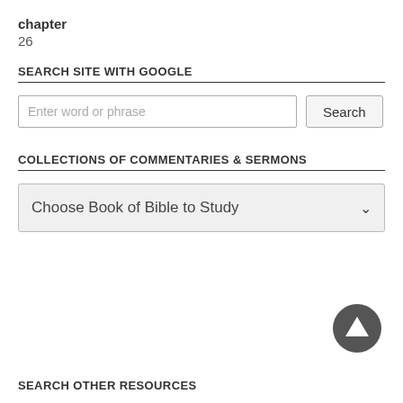chapter
26
SEARCH SITE WITH GOOGLE
[Figure (screenshot): Search input field with placeholder 'Enter word or phrase' and a Search button]
COLLECTIONS OF COMMENTARIES & SERMONS
[Figure (screenshot): Dropdown selector labeled 'Choose Book of Bible to Study']
[Figure (other): Scroll-to-top button: dark circular arrow-up icon]
SEARCH OTHER RESOURCES